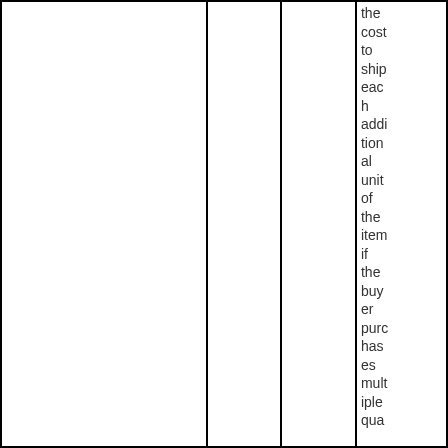|  |  |  | the cost to ship each additional unit of the item if the buyer purchases multiple qua |